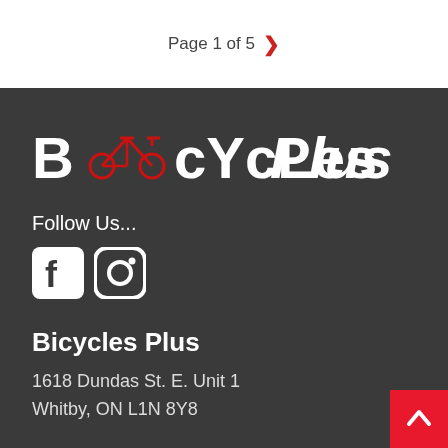Page 1 of 5
[Figure (logo): Bicycles Plus logo with red bicycle icon, white text on dark background]
Follow Us...
[Figure (illustration): Facebook and Instagram social media icons in white on dark background]
Bicycles Plus
1618 Dundas St. E. Unit 1
Whitby, ON L1N 8Y8